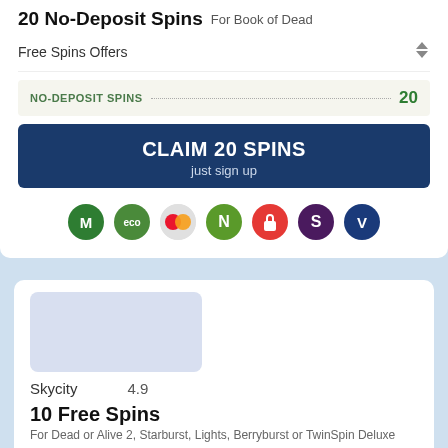20 No-Deposit Spins For Book of Dead
Free Spins Offers
NO-DEPOSIT SPINS ... 20
CLAIM 20 SPINS
just sign up
[Figure (logo): Payment method icons: green M circle, green eco circle, Mastercard circle, green N circle, red lock circle, dark purple S circle, dark blue V circle]
[Figure (photo): Skycity casino logo placeholder (light blue-grey rectangle)]
Skycity   4.9
10 Free Spins
For Dead or Alive 2, Starburst, Lights, Berryburst or TwinSpin Deluxe
$10 Deposit + $10 Bonus  Equals 200 spins of $0.10
FREE SPINS ... 10